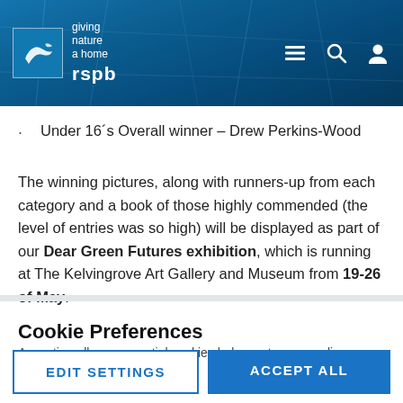rspb - giving nature a home
Under 16´s Overall winner – Drew Perkins-Wood
The winning pictures, along with runners-up from each category and a book of those highly commended (the level of entries was so high) will be displayed as part of our Dear Green Futures exhibition, which is running at The Kelvingrove Art Gallery and Museum from 19-26 of May.
Cookie Preferences
Accepting all non-essential cookies helps us to personalise your experience
EDIT SETTINGS | ACCEPT ALL